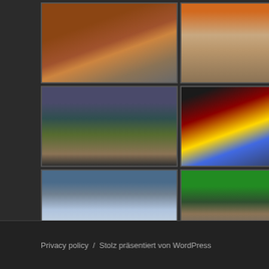[Figure (photo): Grid of 12 landscape/travel photographs arranged in 4 rows of 3, showing desert dunes, mountains, Asian city gate/neon signs, buildings, mountain clouds, ancient doorway, suburban street, rocky terrain, and cacti landscapes]
Privacy policy  /  Stolz präsentiert von WordPress